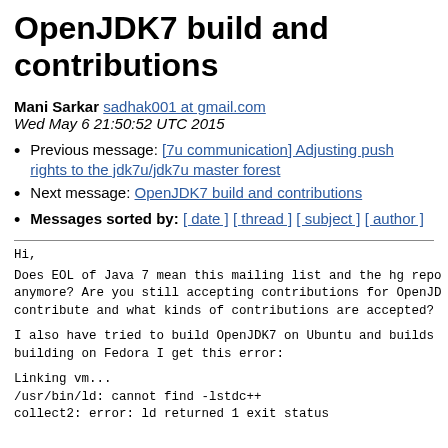OpenJDK7 build and contributions
Mani Sarkar sadhak001 at gmail.com
Wed May 6 21:50:52 UTC 2015
Previous message: [7u communication] Adjusting push rights to the jdk7u/jdk7u master forest
Next message: OpenJDK7 build and contributions
Messages sorted by: [ date ] [ thread ] [ subject ] [ author ]
Hi,
Does EOL of Java 7 mean this mailing list and the hg repo
anymore? Are you still accepting contributions for OpenJD
contribute and what kinds of contributions are accepted?
I also have tried to build OpenJDK7 on Ubuntu and builds
building on Fedora I get this error:
Linking vm...
/usr/bin/ld: cannot find -lstdc++
collect2: error: ld returned 1 exit status